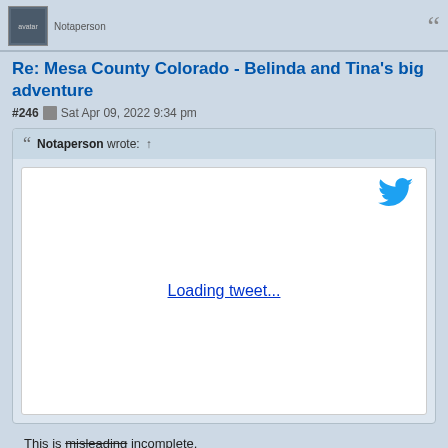Notaperson
Re: Mesa County Colorado - Belinda and Tina's big adventure
#246  Sat Apr 09, 2022 9:34 pm
[Figure (screenshot): Quote block with 'Notaperson wrote: ↑' header and embedded tweet box showing 'Loading tweet...' link with Twitter bird icon]
This is misleading incomplete.